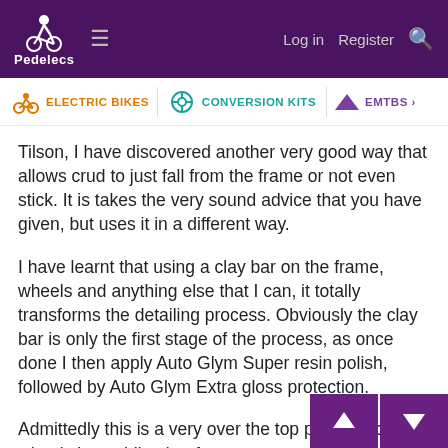Pedelecs — Log in  Register  [search]
ELECTRIC BIKES  CONVERSION KITS  EMTBS
Tilson, I have discovered another very good way that allows crud to just fall from the frame or not even stick. It is takes the very sound advice that you have given, but uses it in a different way.
I have learnt that using a clay bar on the frame, wheels and anything else that I can, it totally transforms the detailing process. Obviously the clay bar is only the first stage of the process, as once done I then apply Auto Glym Super resin polish, followed by Auto Glym Extra gloss protection.
Admittedly this is a very over the top process for what is just a bike, but from my own experience it is well worth the extra bit of effort.